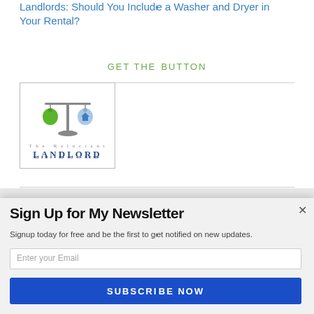Landlords: Should You Include a Washer and Dryer in Your Rental?
GET THE BUTTON
[Figure (logo): The Reluctant Landlord logo: scales of justice with green money bag and blue house, text 'The Reluctant LANDLORD']
Sign Up for My Newsletter
Signup today for free and be the first to get notified on new updates.
Enter your Email
SUBSCRIBE NOW